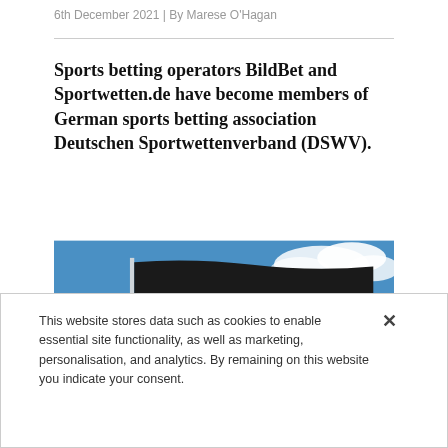6th December 2021 | By Marese O'Hagan
Sports betting operators BildBet and Sportwetten.de have become members of German sports betting association Deutschen Sportwettenverband (DSWV).
[Figure (photo): German flag waving against a blue sky with white clouds]
This website stores data such as cookies to enable essential site functionality, as well as marketing, personalisation, and analytics. By remaining on this website you indicate your consent.